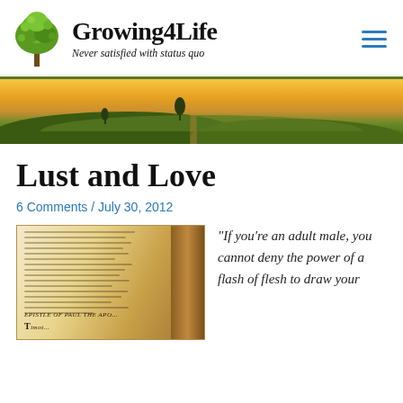Growing4Life — Never satisfied with status quo
[Figure (photo): Sunset landscape with rolling green fields, a dirt road, and two tree silhouettes under an orange-yellow sky]
Lust and Love
6 Comments / July 30, 2012
[Figure (photo): Open Bible showing epistle pages with aged paper]
“If you’re an adult male, you cannot deny the power of a flash of flesh to draw your